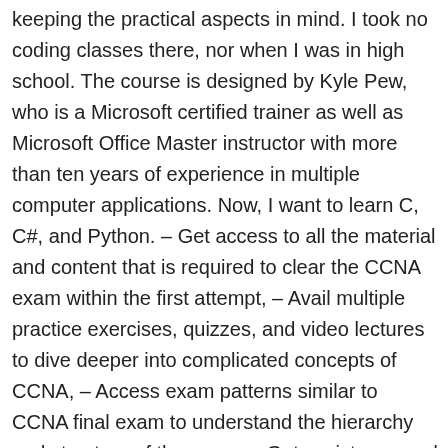keeping the practical aspects in mind. I took no coding classes there, nor when I was in high school. The course is designed by Kyle Pew, who is a Microsoft certified trainer as well as Microsoft Office Master instructor with more than ten years of experience in multiple computer applications. Now, I want to learn C, C#, and Python. – Get access to all the material and content that is required to clear the CCNA exam within the first attempt, – Avail multiple practice exercises, quizzes, and video lectures to dive deeper into complicated concepts of CCNA, – Access exam patterns similar to CCNA final exam to understand the hierarchy and structure of the exam, – Get assistance and help from a team of experts or instructors to submit your queries as well as resolve them continuously, – Learn from your own pace with 30 days free trial to every CCNA course available over Udemy. I did some research on my own and found Brad Traversy Modern JS course but that's about it. Beginner to advanced courses available. Learn how to use the R